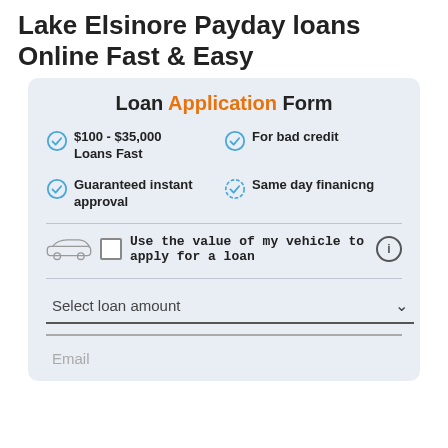Lake Elsinore Payday loans Online Fast & Easy
Loan Application Form
$100 - $35,000 Loans Fast
For bad credit
Guaranteed instant approval
Same day finanicng
Use the value of my vehicle to apply for a loan
Select loan amount
Email